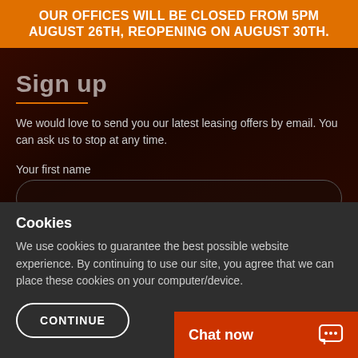OUR OFFICES WILL BE CLOSED FROM 5PM AUGUST 26TH, REOPENING ON AUGUST 30TH.
Sign up
We would love to send you our latest leasing offers by email. You can ask us to stop at any time.
Your first name
Your last name
Cookies
We use cookies to guarantee the best possible website experience. By continuing to use our site, you agree that we can place these cookies on your computer/device.
CONTINUE
Chat now